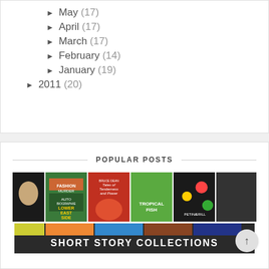May (17)
April (17)
March (17)
February (14)
January (19)
2011 (20)
POPULAR POSTS
[Figure (photo): Grid of book covers for popular posts, top row shows 5 book covers, bottom row shows a banner reading SHORT STORY COLLECTIONS]